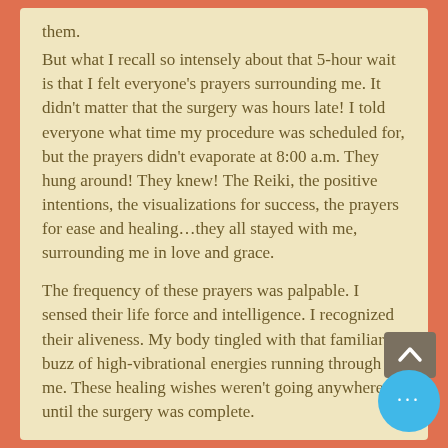them.
But what I recall so intensely about that 5-hour wait is that I felt everyone's prayers surrounding me. It didn't matter that the surgery was hours late! I told everyone what time my procedure was scheduled for, but the prayers didn't evaporate at 8:00 a.m. They hung around! They knew! The Reiki, the positive intentions, the visualizations for success, the prayers for ease and healing…they all stayed with me, surrounding me in love and grace.
The frequency of these prayers was palpable. I sensed their life force and intelligence. I recognized their aliveness. My body tingled with that familiar buzz of high-vibrational energies running through me. These healing wishes weren't going anywhere until the surgery was complete.